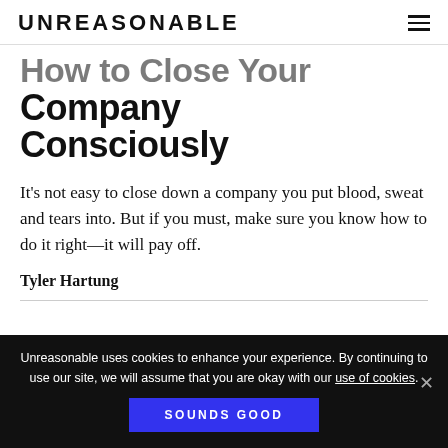UNREASONABLE
How to Close Your Company Consciously
It's not easy to close down a company you put blood, sweat and tears into. But if you must, make sure you know how to do it right—it will pay off.
Tyler Hartung
Unreasonable uses cookies to enhance your experience. By continuing to use our site, we will assume that you are okay with our use of cookies.